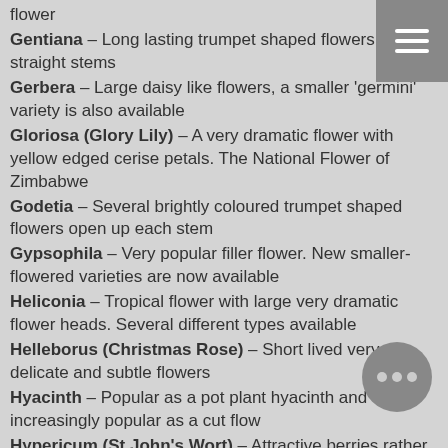flower
Gentiana – Long lasting trumpet shaped flowers up straight stems
Gerbera – Large daisy like flowers, a smaller 'germini' variety is also available
Gloriosa (Glory Lily) – A very dramatic flower with yellow edged cerise petals. The National Flower of Zimbabwe
Godetia – Several brightly coloured trumpet shaped flowers open up each stem
Gypsophila – Very popular filler flower. New smaller-flowered varieties are now available
Heliconia – Tropical flower with large very dramatic flower heads. Several different types available
Helleborus (Christmas Rose) – Short lived very delicate and subtle flowers
Hyacinth – Popular as a pot plant hyacinth and increasingly popular as a cut flow
Hypericum (St John's Wort) – Attractive berries rather than flowers make this a very popular filler